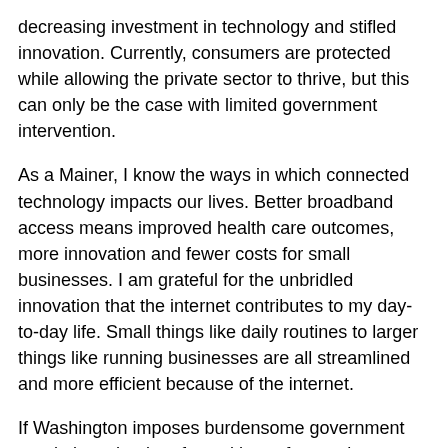decreasing investment in technology and stifled innovation. Currently, consumers are protected while allowing the private sector to thrive, but this can only be the case with limited government intervention.
As a Mainer, I know the ways in which connected technology impacts our lives. Better broadband access means improved health care outcomes, more innovation and fewer costs for small businesses. I am grateful for the unbridled innovation that the internet contributes to my day-to-day life. Small things like daily routines to larger things like running businesses are all streamlined and more efficient because of the internet.
If Washington imposes burdensome government regulations that interfere with our free and open internet, it will reduce the ease with which we can access it and impede future advancements, causing undue hardship for Mainers like myself. Overregulation of the internet will disincentivize job creation, increase costs for business owners and reduce productivity.
In Maine, we rely heavily on the internet to perform daily tasks, and